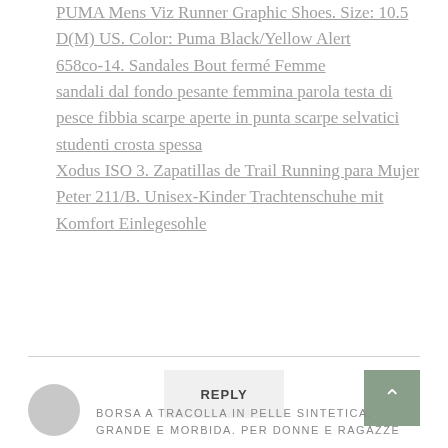PUMA Mens Viz Runner Graphic Shoes. Size: 10.5 D(M) US. Color: Puma Black/Yellow Alert
658co-14. Sandales Bout fermé Femme
sandali dal fondo pesante femmina parola testa di pesce fibbia scarpe aperte in punta scarpe selvatici studenti crosta spessa
Xodus ISO 3. Zapatillas de Trail Running para Mujer
Peter 211/B. Unisex-Kinder Trachtenschuhe mit Komfort Einlegesohle
REPLY
BORSA A TRACOLLA IN PELLE SINTETICA. GRANDE E MORBIDA. PER DONNE E RAGAZZE